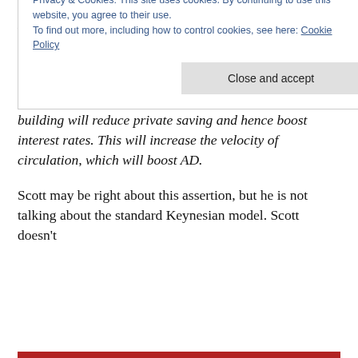Now that doesn't mean the balanced budget multiplier is necessarily zero.  Here's the criticism that Wren-Lewis should have made:
Cochrane ignores the fact that tax-financed bridge building will reduce private saving and hence boost interest rates. This will increase the velocity of circulation, which will boost AD.
Scott may be right about this assertion, but he is not talking about the standard Keynesian model. Scott doesn't
Privacy & Cookies: This site uses cookies. By continuing to use this website, you agree to their use.
To find out more, including how to control cookies, see here: Cookie Policy
Close and accept